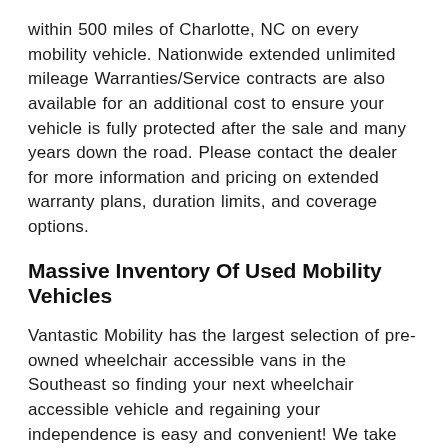within 500 miles of Charlotte, NC on every mobility vehicle. Nationwide extended unlimited mileage Warranties/Service contracts are also available for an additional cost to ensure your vehicle is fully protected after the sale and many years down the road. Please contact the dealer for more information and pricing on extended warranty plans, duration limits, and coverage options.
Massive Inventory Of Used Mobility Vehicles
Vantastic Mobility has the largest selection of pre-owned wheelchair accessible vans in the Southeast so finding your next wheelchair accessible vehicle and regaining your independence is easy and convenient! We take the time to personally evaluate your needs, help you in selecting the right vehicle, assist with financing, and provide training on the use of your new adaptive equipment. If you have any questions, concerns, or would like to receive a free needs based assessment, please